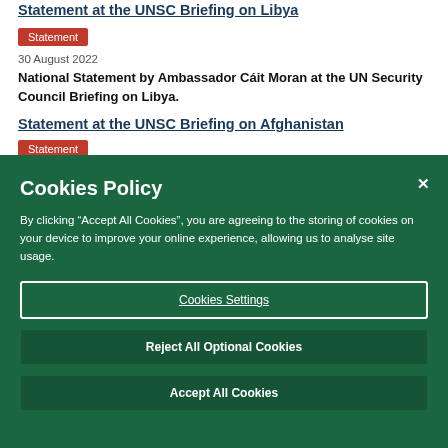Statement at the UNSC Briefing on Libya
Statement
30 August 2022
National Statement by Ambassador Cáit Moran at the UN Security Council Briefing on Libya.
Statement at the UNSC Briefing on Afghanistan
Statement
Cookies Policy
By clicking “Accept All Cookies”, you are agreeing to the storing of cookies on your device to improve your online experience, allowing us to analyse site usage.
Cookies Settings
Reject All Optional Cookies
Accept All Cookies